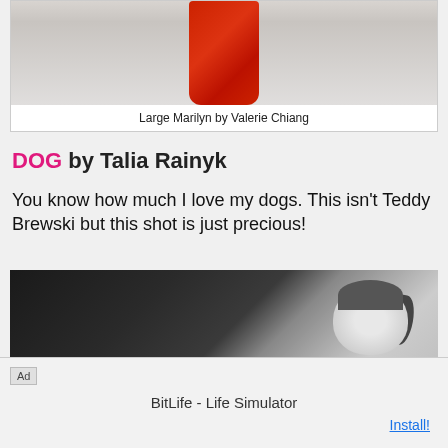[Figure (photo): Partial view of a woman in a red dress with long hair, against a light background. Only the torso/lower body visible.]
Large Marilyn by Valerie Chiang
DOG by Talia Rainyk
You know how much I love my dogs. This isn’t Teddy Brewski but this shot is just precious!
[Figure (photo): Black and white photo of a young girl with pigtails, looking downward.]
Ad
BitLife - Life Simulator
Install!